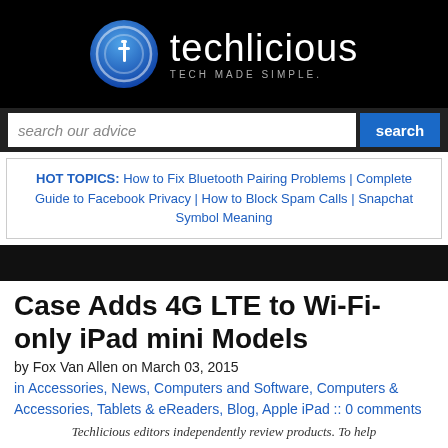[Figure (logo): Techlicious logo: circular blue icon with letter t, white text 'techlicious' and tagline 'TECH MADE SIMPLE.' on black background]
[Figure (screenshot): Search bar with italic placeholder text 'search our advice' and blue 'search' button]
HOT TOPICS: How to Fix Bluetooth Pairing Problems | Complete Guide to Facebook Privacy | How to Block Spam Calls | Snapchat Symbol Meaning
[Figure (photo): Black image bar under hot topics section]
Case Adds 4G LTE to Wi-Fi-only iPad mini Models
by Fox Van Allen on March 03, 2015
in Accessories, News, Computers and Software, Computers & Accessories, Tablets & eReaders, Blog, Apple iPad :: 0 comments
Techlicious editors independently review products. To help